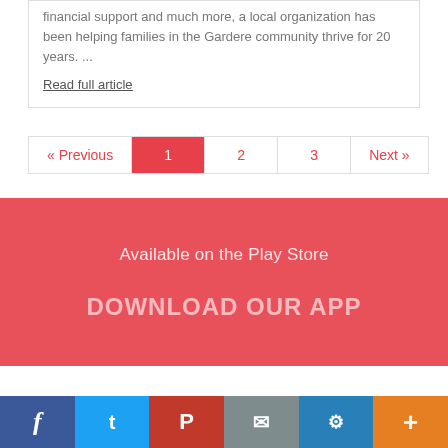financial support and much more, a local organization has been helping families in the Gardere community thrive for 20 years. ...
Read full article
« Previous  1  2  3  Next »
Available on the Play Store
DOWNLOAD OUR APP
f  t  P  ✉  ⚙  +